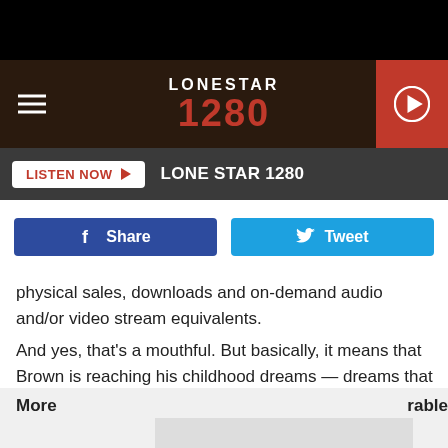[Figure (logo): Lone Star 1280 radio station logo with hamburger menu and play button]
[Figure (screenshot): Listen Now button with Lone Star 1280 station name on dark bar]
[Figure (screenshot): Facebook Share and Twitter Tweet social buttons]
physical sales, downloads and on-demand audio and/or video stream equivalents.
And yes, that's a mouthful. But basically, it means that Brown is reaching his childhood dreams — dreams that that kid with the multi-color jacket may never have dreamt he could make come true.
More ... rable